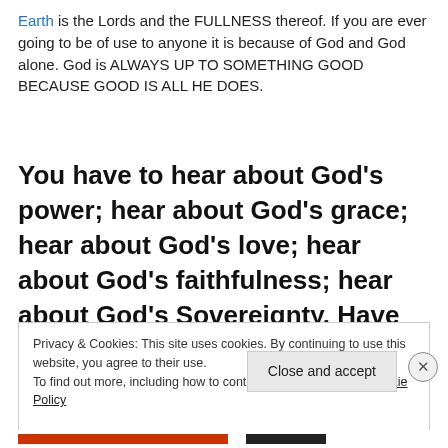Earth is the Lords and the FULLNESS thereof. If you are ever going to be of use to anyone it is because of God and God alone. God is ALWAYS UP TO SOMETHING GOOD BECAUSE GOOD IS ALL HE DOES.
You have to hear about God's power; hear about God's grace; hear about God's love; hear about God's faithfulness; hear about God's Sovereignty. Have you heard that Jesus Christ SAVES to the UTMOST?
Privacy & Cookies: This site uses cookies. By continuing to use this website, you agree to their use. To find out more, including how to control cookies, see here: Cookie Policy
Close and accept